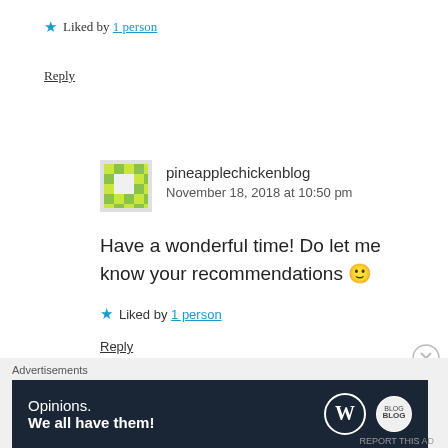★ Liked by 1 person
Reply
pineapplechickenblog
November 18, 2018 at 10:50 pm
Have a wonderful time! Do let me know your recommendations 🙂
★ Liked by 1 person
Reply
Advertisements
[Figure (screenshot): WordPress advertisement banner: 'Opinions. We all have them!' with WordPress and another logo on dark navy background]